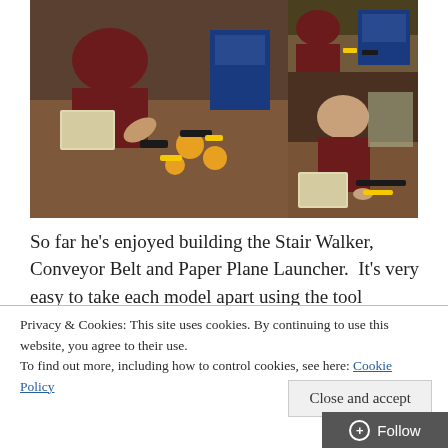[Figure (photo): Collage of three photos showing a boy in a dark red/maroon sweater building with construction toy pieces on a wooden table, with instruction booklets and colorful mechanical parts scattered around.]
So far he’s enjoyed building the Stair Walker, Conveyor Belt and Paper Plane Launcher.  It’s very easy to take each model apart using the tool provided, but that’s not to say that the builds aren’t sturdy, because they are.
Privacy & Cookies: This site uses cookies. By continuing to use this website, you agree to their use.
To find out more, including how to control cookies, see here: Cookie Policy
Close and accept
Follow